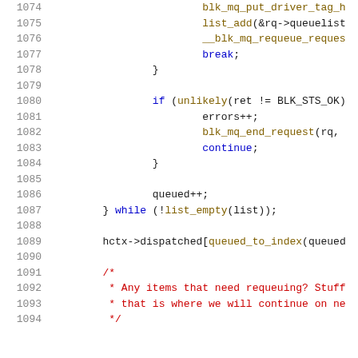Source code listing lines 1074-1094, C kernel code for block multiqueue requeuing logic
1074: blk_mq_put_driver_tag_h
1075: list_add(&rq->queuelist
1076: __blk_mq_requeue_reques
1077: break;
1078: }
1079: (blank)
1080: if (unlikely(ret != BLK_STS_OK)
1081: errors++;
1082: blk_mq_end_request(rq,
1083: continue;
1084: }
1085: (blank)
1086: queued++;
1087: } while (!list_empty(list));
1088: (blank)
1089: hctx->dispatched[queued_to_index(queued
1090: (blank)
1091: /*
1092:  * Any items that need requeuing? Stuff
1093:  * that is where we will continue on ne
1094:  */